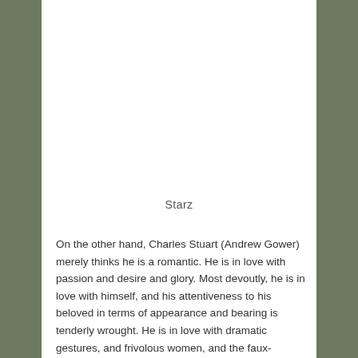Starz
On the other hand, Charles Stuart (Andrew Gower) merely thinks he is a romantic. He is in love with passion and desire and glory. Most devoutly, he is in love with himself, and his attentiveness to his beloved in terms of appearance and bearing is tenderly wrought. He is in love with dramatic gestures, and frivolous women, and the faux-liberality that comes with strong wine and dimly lit brothel parlors. Unfortunately, his rose-colored glasses extend to grander schemes, where a combination of ego and entitlement layered over a foundation of daddy issues threatens